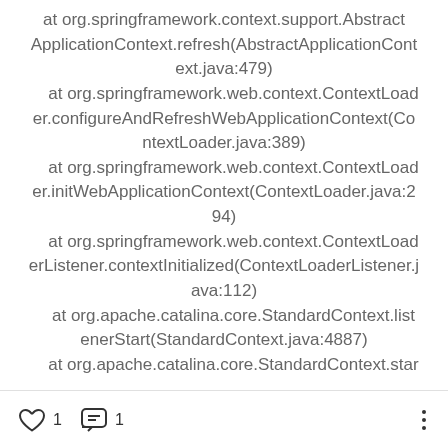at org.springframework.context.support.AbstractApplicationContext.refresh(AbstractApplicationContext.java:479)
    at org.springframework.web.context.ContextLoader.configureAndRefreshWebApplicationContext(ContextLoader.java:389)
    at org.springframework.web.context.ContextLoader.initWebApplicationContext(ContextLoader.java:294)
    at org.springframework.web.context.ContextLoaderListener.contextInitialized(ContextLoaderListener.java:112)
    at org.apache.catalina.core.StandardContext.listenerStart(StandardContext.java:4887)
    at org.apache.catalina.core.StandardContext.star
1 like  1 comment